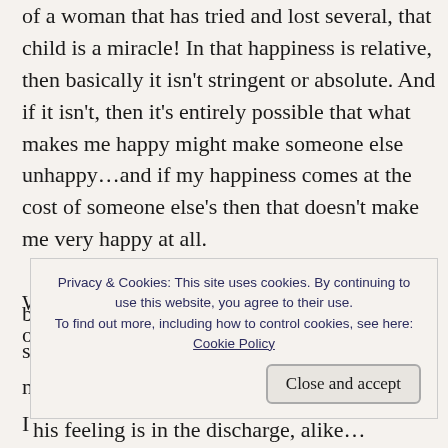of a woman that has tried and lost several, that child is a miracle! In that happiness is relative, then basically it isn't stringent or absolute. And if it isn't, then it's entirely possible that what makes me happy might make someone else unhappy...and if my happiness comes at the cost of someone else's then that doesn't make me very happy at all.
Webster defines HAPPINESS as such: a state of well-
Privacy & Cookies: This site uses cookies. By continuing to use this website, you agree to their use. To find out more, including how to control cookies, see here: Cookie Policy
Close and accept
his feeling is in the discharge, alike...